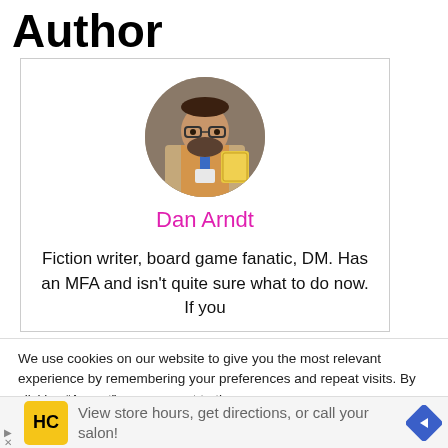Author
[Figure (photo): Circular avatar photo of Dan Arndt, a person with beard and glasses holding something, wearing a lanyard badge]
Dan Arndt
Fiction writer, board game fanatic, DM. Has an MFA and isn't quite sure what to do now. If you
We use cookies on our website to give you the most relevant experience by remembering your preferences and repeat visits. By clicking “Accept”, you consent to the use LL the cookies.
View store hours, get directions, or call your salon!